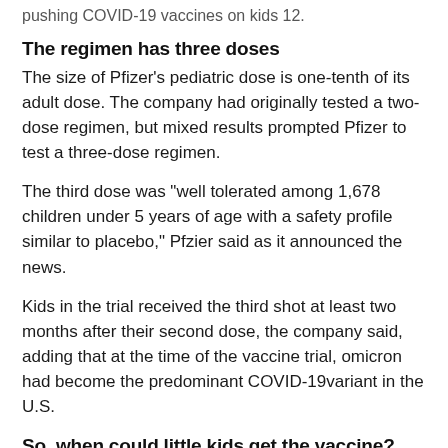pushing COVID-19 vaccines on kids 12.
The regimen has three doses
The size of Pfizer's pediatric dose is one-tenth of its adult dose. The company had originally tested a two-dose regimen, but mixed results prompted Pfizer to test a three-dose regimen.
The third dose was "well tolerated among 1,678 children under 5 years of age with a safety profile similar to placebo," Pfzier said as it announced the news.
Kids in the trial received the third shot at least two months after their second dose, the company said, adding that at the time of the vaccine trial, omicron had become the predominant COVID-19variant in the U.S.
So, when could little kids get the vaccine?
Pfizer announced its findings two weeks before what had been FDA's earliest date for to start the review process for young kids' vaccines. The agency had set aside three dates in June for its independent advisory panel to meet and